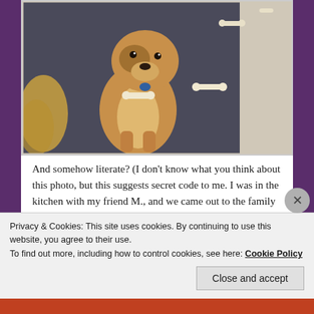[Figure (photo): A golden-brown dog sitting on a dark carpet surrounded by scattered white bones arranged in a line, looking up at the camera]
And somehow literate? (I don't know what you think about this photo, but this suggests secret code to me. I was in the kitchen with my friend M., and we came out to the family room to find that Boh had arranged ALL of his bones in a straight line. What could it mean?)
Privacy & Cookies: This site uses cookies. By continuing to use this website, you agree to their use.
To find out more, including how to control cookies, see here: Cookie Policy
Close and accept